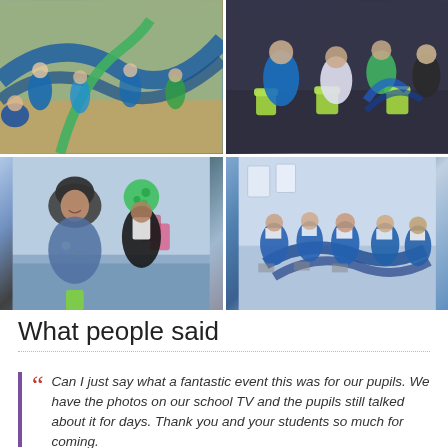[Figure (photo): Four photographs arranged in a 2x2 grid showing school children and adults participating in creative/movement activities. Top-left: children in blue t-shirts waving blue fabric/parachute. Top-right: adults and children sitting in a circle on green and yellow chairs. Bottom-left: a woman in a headscarf smiling with a young girl holding green pompom. Bottom-right: children in blue school uniforms seated and working with blue fabric.]
What people said
Can I just say what a fantastic event this was for our pupils. We have the photos on our school TV and the pupils still talked about it for days. Thank you and your students so much for coming.